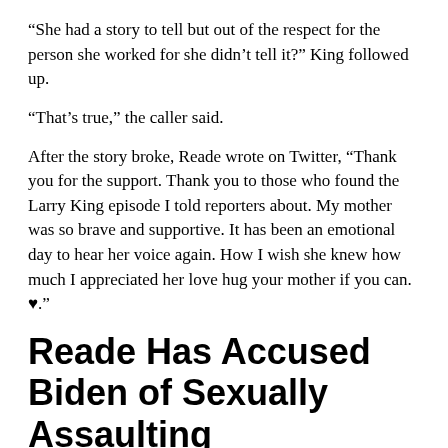“She had a story to tell but out of the respect for the person she worked for she didn’t tell it?” King followed up.
“That’s true,” the caller said.
After the story broke, Reade wrote on Twitter, “Thank you for the support. Thank you to those who found the Larry King episode I told reporters about. My mother was so brave and supportive. It has been an emotional day to hear her voice again. How I wish she knew how much I appreciated her love hug your mother if you can. ♥.”
Reade Has Accused Biden of Sexually Assaulting
Reade, a California freelance writer, is accusing Democratic presidential candidate Biden of sexually assaulting her in 1993 when she was working as a Biden staff member. On Twitter, Reade defines herself as “former Leon Panetta intern, Ermer’s